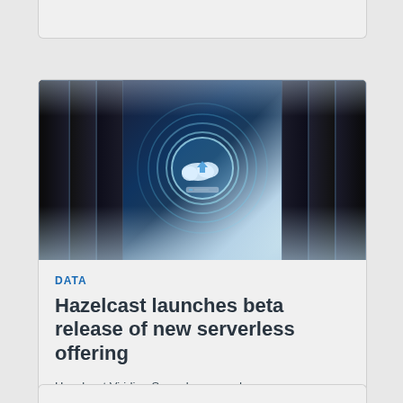[Figure (photo): Data center corridor with server racks on both sides, glowing teal cloud upload icon in the center with circular light rings, perspective view down the aisle]
DATA
Hazelcast launches beta release of new serverless offering
Hazelcast Viridian Serverless speeds up app development, simplifies provisioning, and enables integration of real-time data into applications.